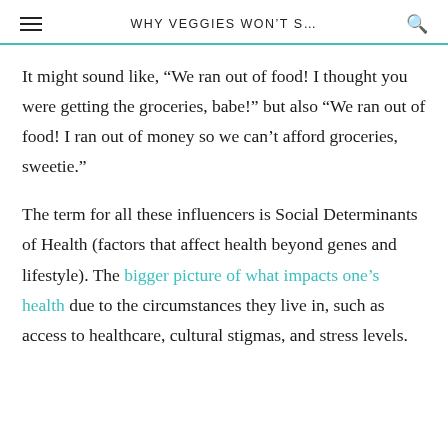WHY VEGGIES WON'T S…
It might sound like, “We ran out of food! I thought you were getting the groceries, babe!” but also “We ran out of food! I ran out of money so we can’t afford groceries, sweetie.”
The term for all these influencers is Social Determinants of Health (factors that affect health beyond genes and lifestyle). The bigger picture of what impacts one’s health due to the circumstances they live in, such as access to healthcare, cultural stigmas, and stress levels.